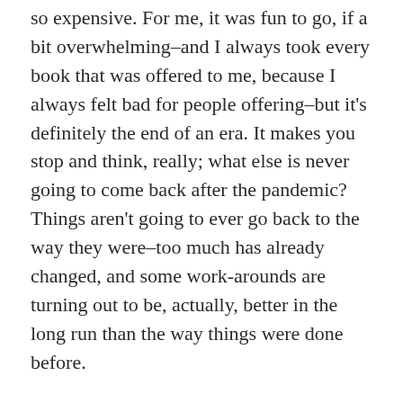so expensive. For me, it was fun to go, if a bit overwhelming–and I always took every book that was offered to me, because I always felt bad for people offering–but it's definitely the end of an era. It makes you stop and think, really; what else is never going to come back after the pandemic? Things aren't going to ever go back to the way they were–too much has already changed, and some work-arounds are turning out to be, actually, better in the long run than the way things were done before.
And on that note, tis back to the spice mines with me. Hope you have a lovely and warm